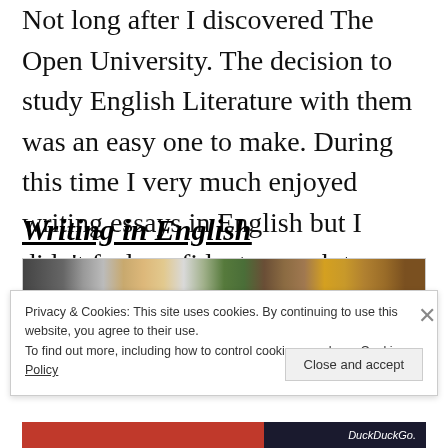Not long after I discovered The Open University. The decision to study English Literature with them was an easy one to make. During this time I very much enjoyed writing essays in English but I didn't feel confident enough to write stories in English.
Writing in English
[Figure (photo): Partial view of a desk scene with a keyboard, coffee cup, and green plant leaves — a writing/workspace themed photo.]
Privacy & Cookies: This site uses cookies. By continuing to use this website, you agree to their use.
To find out more, including how to control cookies, see here: Cookie Policy
[Figure (screenshot): Bottom strip showing DuckDuckGo branding on a dark background with red accent.]